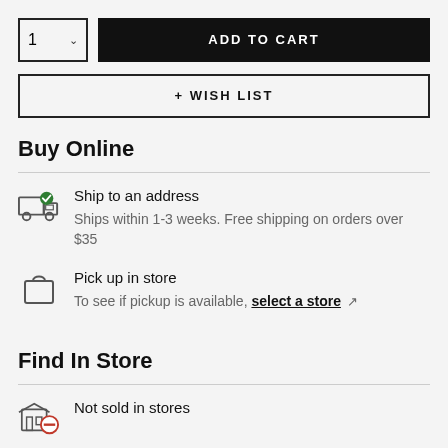1  ADD TO CART
+ WISH LIST
Buy Online
Ship to an address — Ships within 1-3 weeks. Free shipping on orders over $35
Pick up in store — To see if pickup is available, select a store
Find In Store
Not sold in stores